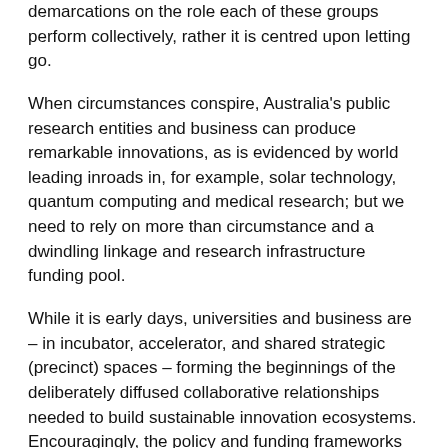demarcations on the role each of these groups perform collectively, rather it is centred upon letting go.
When circumstances conspire, Australia's public research entities and business can produce remarkable innovations, as is evidenced by world leading inroads in, for example, solar technology, quantum computing and medical research; but we need to rely on more than circumstance and a dwindling linkage and research infrastructure funding pool.
While it is early days, universities and business are – in incubator, accelerator, and shared strategic (precinct) spaces – forming the beginnings of the deliberately diffused collaborative relationships needed to build sustainable innovation ecosystems. Encouragingly, the policy and funding frameworks put forward by the National Innovation and Science Agenda offer much to support this process.